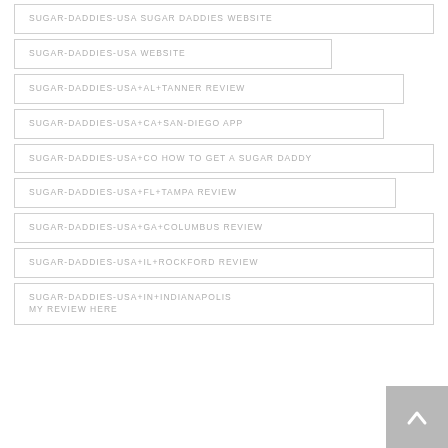SUGAR-DADDIES-USA SUGAR DADDIES WEBSITE
SUGAR-DADDIES-USA WEBSITE
SUGAR-DADDIES-USA+AL+TANNER REVIEW
SUGAR-DADDIES-USA+CA+SAN-DIEGO APP
SUGAR-DADDIES-USA+CO HOW TO GET A SUGAR DADDY
SUGAR-DADDIES-USA+FL+TAMPA REVIEW
SUGAR-DADDIES-USA+GA+COLUMBUS REVIEW
SUGAR-DADDIES-USA+IL+ROCKFORD REVIEW
SUGAR-DADDIES-USA+IN+INDIANAPOLIS MY REVIEW HERE